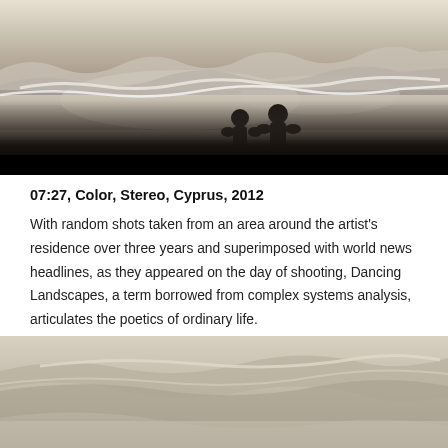[Figure (photo): Black and white photograph of two people standing on a beach facing the ocean with waves in the background, silhouetted against a bright sky. The lower portion of the image is black.]
07:27, Color, Stereo, Cyprus, 2012
With random shots taken from an area around the artist's residence over three years and superimposed with world news headlines, as they appeared on the day of shooting, Dancing Landscapes, a term borrowed from complex systems analysis, articulates the poetics of ordinary life.
[Figure (photo): Sepia-toned photograph of ocean waves and sandy coastline, partially visible at the bottom of the page.]